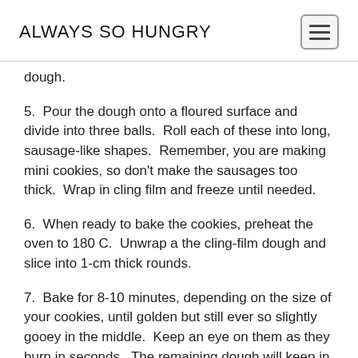ALWAYS SO HUNGRY
dough.
5.  Pour the dough onto a floured surface and divide into three balls.  Roll each of these into long, sausage-like shapes.  Remember, you are making mini cookies, so don't make the sausages too thick.  Wrap in cling film and freeze until needed.
6.  When ready to bake the cookies, preheat the oven to 180 C.  Unwrap a the cling-film dough and slice into 1-cm thick rounds.
7.  Bake for 8-10 minutes, depending on the size of your cookies, until golden but still ever so slightly gooey in the middle.  Keep an eye on them as they burn in seconds.  The remaining dough will keep in the freezer for up to a month or so.